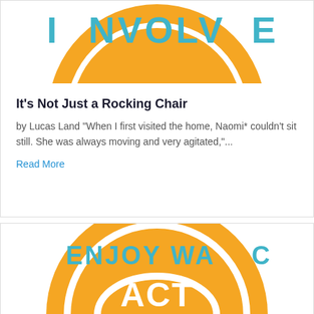[Figure (logo): Partial orange circular logo with teal text reading 'NVOLV' (part of INVOLVE) on white background, top of card]
It's Not Just a Rocking Chair
by Lucas Land "When I first visited the home, Naomi* couldn't sit still. She was always moving and very agitated,"...
Read More
[Figure (logo): Partial orange circular logo with teal text reading 'ENJOY WACO' and white 'ACT' text in center, bottom card]